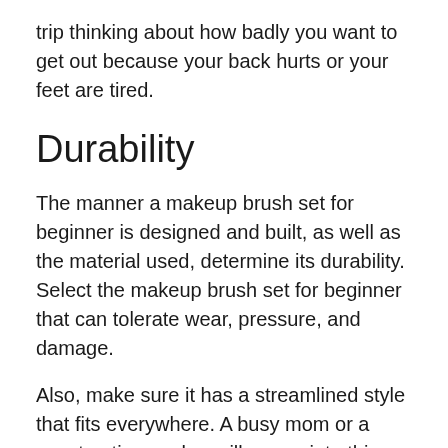trip thinking about how badly you want to get out because your back hurts or your feet are tired.
Durability
The manner a makeup brush set for beginner is designed and built, as well as the material used, determine its durability. Select the makeup brush set for beginner that can tolerate wear, pressure, and damage.
Also, make sure it has a streamlined style that fits everywhere. A busy mom or a construction worker will appreciate this product's durability.
What Are Today's Most...